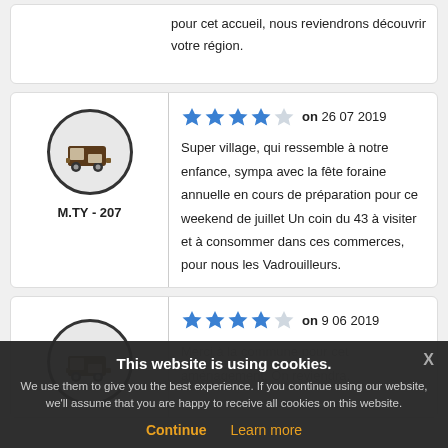pour cet accueil, nous reviendrons découvrir votre région.
M.TY - 207 ★★★★☆ on 26 07 2019
Super village, qui ressemble à notre enfance, sympa avec la fête foraine annuelle en cours de préparation pour ce weekend de juillet Un coin du 43 à visiter et à consommer dans ces commerces, pour nous les Vadrouilleurs.
★★★★☆ on 9 06 2019
Merci à la commune pour cet aménagement. On reviendra.
This website is using cookies.
We use them to give you the best experience. If you continue using our website, we'll assume that you are happy to receive all cookies on this website.
Continue  Learn more